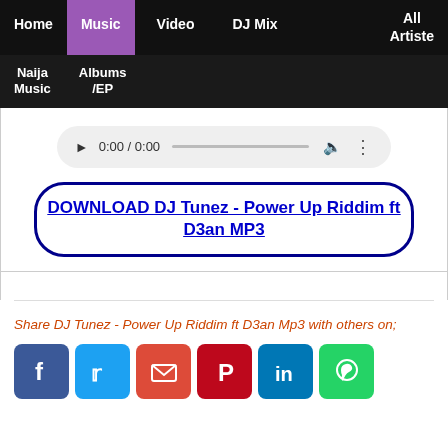Home | Music | Video | DJ Mix | All Artiste
Naija Music | Albums /EP
[Figure (other): Audio player widget showing 0:00 / 0:00 with play button, progress bar, volume icon and menu dots]
DOWNLOAD DJ Tunez - Power Up Riddim ft D3an MP3
Share DJ Tunez - Power Up Riddim ft D3an Mp3 with others on;
[Figure (other): Social media share icons: Facebook, Twitter, Email, Pinterest, LinkedIn, WhatsApp]